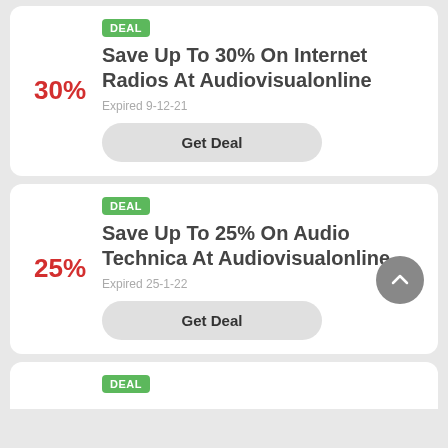DEAL — Save Up To 30% On Internet Radios At Audiovisualonline — Expired 9-12-21 — Get Deal
DEAL — Save Up To 25% On Audio Technica At Audiovisualonline — Expired 25-1-22 — Get Deal
DEAL